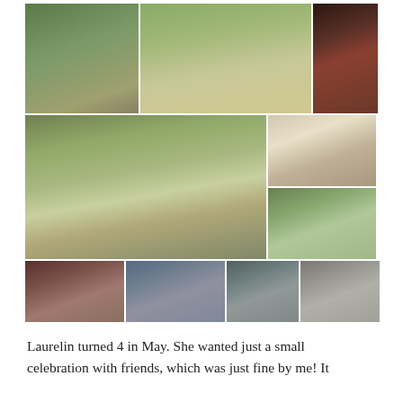[Figure (photo): Photo collage of an outdoor celebration/party event. Row 1: couple standing under a tree, outdoor tables set up with hay bales and white linens, woman in red dress holding white flowers bouquet. Row 2: large group of people sitting on hay bales at sunset in a field, dessert table with cakes, guests seated at tables in a field. Row 3: close-up of woman with flowers in hair, couple posing together, woman cutting a cake indoors, couple indoors near window.]
Laurelin turned 4 in May. She wanted just a small celebration with friends, which was just fine by me! It